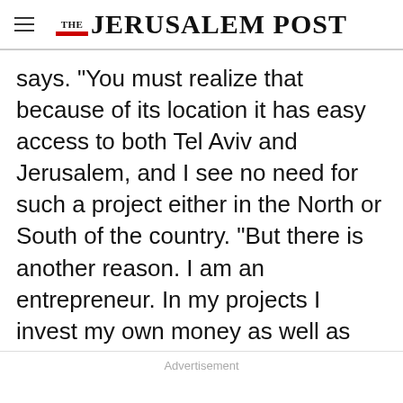THE JERUSALEM POST
says. "You must realize that because of its location it has easy access to both Tel Aviv and Jerusalem, and I see no need for such a project either in the North or South of the country. "But there is another reason. I am an entrepreneur. In my projects I invest my own money as well as the money of other investors. And as a businessman, I invest in projects that will show the biggest yields and I try to get the biggest returns on my
Advertisement